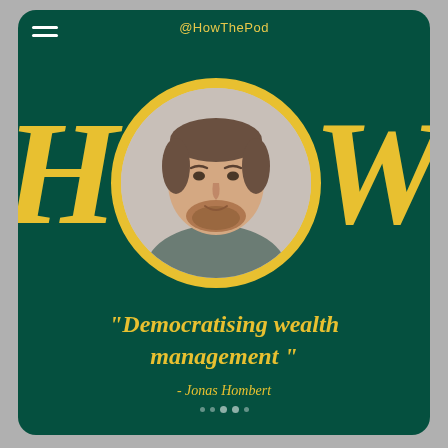@HowThePod
[Figure (illustration): Podcast cover art: dark green card with 'HOW' in large yellow serif letters, the 'O' replaced by a circular portrait of Jonas Hombert (man with short brown beard and grey t-shirt), yellow circle border around portrait.]
“Democratising wealth management ”
- Jonas Hombert